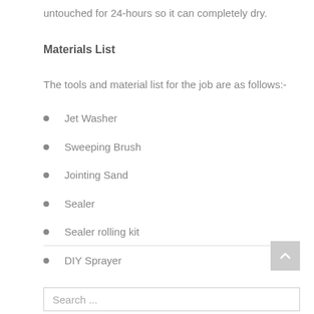untouched for 24-hours so it can completely dry.
Materials List
The tools and material list for the job are as follows:-
Jet Washer
Sweeping Brush
Jointing Sand
Sealer
Sealer rolling kit
DIY Sprayer